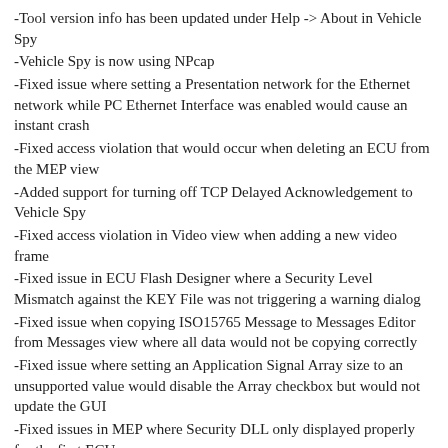-Tool version info has been updated under Help -> About in Vehicle Spy
-Vehicle Spy is now using NPcap
-Fixed issue where setting a Presentation network for the Ethernet network while PC Ethernet Interface was enabled would cause an instant crash
-Fixed access violation that would occur when deleting an ECU from the MEP view
-Added support for turning off TCP Delayed Acknowledgement to Vehicle Spy
-Fixed access violation in Video view when adding a new video frame
-Fixed issue in ECU Flash Designer where a Security Level Mismatch against the KEY File was not triggering a warning dialog
-Fixed issue when copying ISO15765 Message to Messages Editor from Messages view where all data would not be copying correctly
-Fixed issue where setting an Application Signal Array size to an unsupported value would disable the Array checkbox but would not update the GUI
-Fixed issues in MEP where Security DLL only displayed properly for the first ECU
-Fixed GUI issues under Logon View -> Current Platform
-Fixed issue in Messages View where Column Group Selection was cut off